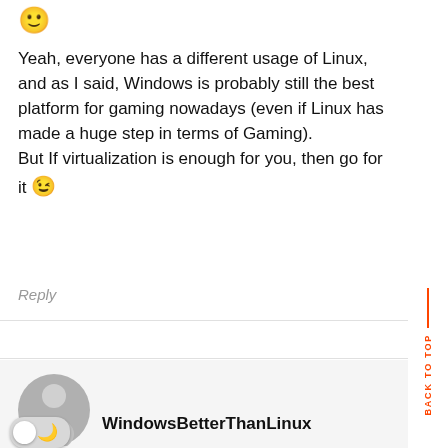Hello Julien! Thank you for your comment 🙂

Yeah, everyone has a different usage of Linux, and as I said, Windows is probably still the best platform for gaming nowadays (even if Linux has made a huge step in terms of Gaming).
But If virtualization is enough for you, then go for it 😉
Reply
[Figure (illustration): User avatar showing a grey silhouette of a person with a dark mode toggle switch overlaid at the bottom left]
WindowsBetterThanLinux